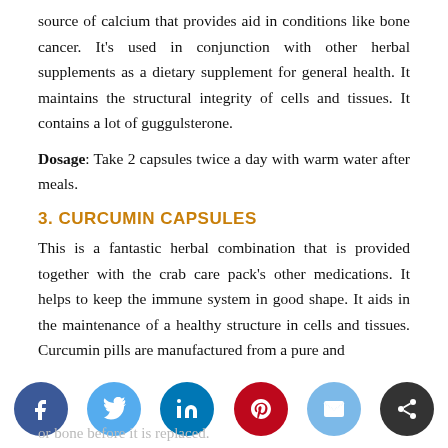source of calcium that provides aid in conditions like bone cancer. It's used in conjunction with other herbal supplements as a dietary supplement for general health. It maintains the structural integrity of cells and tissues. It contains a lot of guggulsterone.
Dosage: Take 2 capsules twice a day with warm water after meals.
3. CURCUMIN CAPSULES
This is a fantastic herbal combination that is provided together with the crab care pack's other medications. It helps to keep the immune system in good shape. It aids in the maintenance of a healthy structure in cells and tissues. Curcumin pills are manufactured from a pure and
standardized of Curcuma longa extract (Curcuma longa)
[Figure (other): Social sharing bar with icons for Facebook, Twitter, LinkedIn, Pinterest, Email, and Share buttons]
or bone before it is replaced.